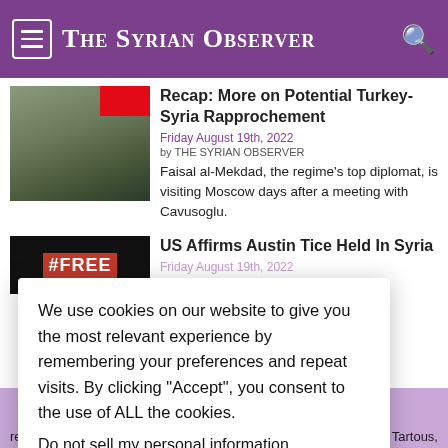The Syrian Observer
Recap: More on Potential Turkey-Syria Rapprochement
Friday August 19th, 2022
by THE SYRIAN OBSERVER
Faisal al-Mekdad, the regime's top diplomat, is visiting Moscow days after a meeting with Cavusoglu.
US Affirms Austin Tice Held In Syria
Friday August 19th, 2022
...s extensive ...ia "to try to ...orth Press.
...tolen Grain
...-Arab)
...to have reached...the Syrian port of Tartous,
We use cookies on our website to give you the most relevant experience by remembering your preferences and repeat visits. By clicking "Accept", you consent to the use of ALL the cookies.
Do not sell my personal information.